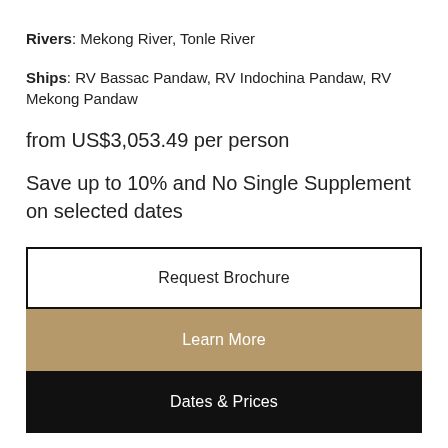Rivers: Mekong River, Tonle River
Ships: RV Bassac Pandaw, RV Indochina Pandaw, RV Mekong Pandaw
from US$3,053.49 per person
Save up to 10% and No Single Supplement on selected dates
Request Brochure
Learn More
Dates & Prices